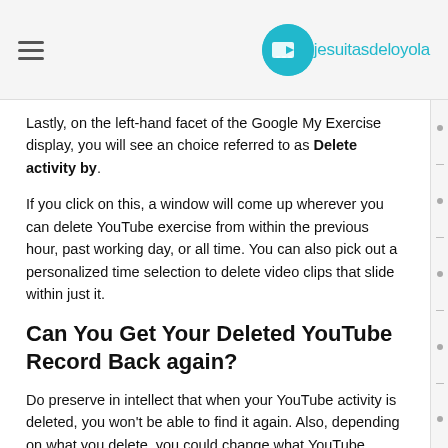jesuitasdeloyola
Lastly, on the left-hand facet of the Google My Exercise display, you will see an choice referred to as Delete activity by.
If you click on this, a window will come up wherever you can delete YouTube exercise from within the previous hour, past working day, or all time. You can also pick out a personalized time selection to delete video clips that slide within just it.
Can You Get Your Deleted YouTube Record Back again?
Do preserve in intellect that when your YouTube activity is deleted, you won't be able to find it again. Also, depending on what you delete, you could change what YouTube exhibits...